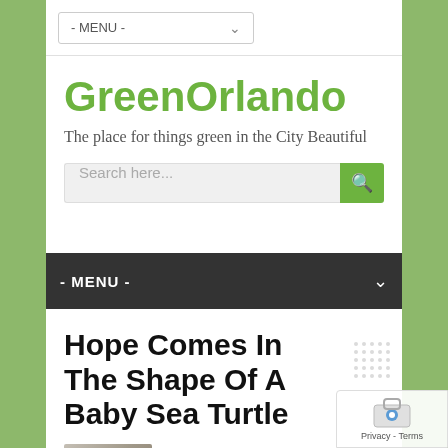- MENU -
GreenOrlando
The place for things green in the City Beautiful
- MENU -
Hope Comes In The Shape Of A Baby Sea Turtle
Brevard County turns off its lights
[Figure (screenshot): Small thumbnail image of a baby sea turtle]